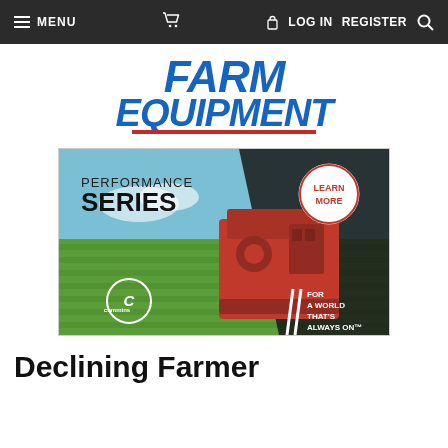MENU  [cart]  LOG IN  REGISTER  [search]
[Figure (logo): Farm Equipment magazine logo in bold italic blue text with red underline bar]
[Figure (illustration): Cummins Performance Series advertisement banner showing a red Cummins engine against a green crop field background with text 'PERFORMANCE SERIES', 'LEARN MORE' in a circle, Cummins logo, and tagline 'FOR A WORLD THAT'S ALWAYS ON']
Declining Farmer